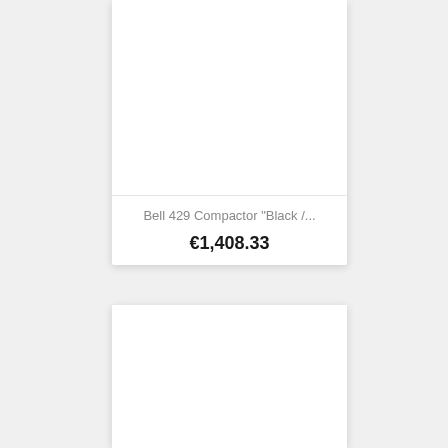Bell 429 Compactor "Black /...
€1,408.33